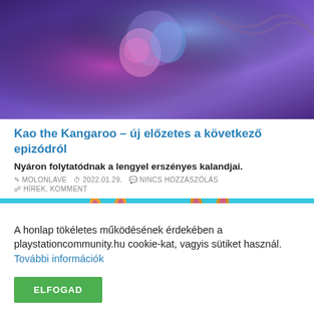[Figure (illustration): Colorful fantasy game artwork with animated characters on purple/blue background with roller coaster elements]
Kao the Kangaroo – új előzetes a következő epizódról
Nyáron folytatódnak a lengyel erszényes kalandjai.
MOLONLAVE  2022.01.29.  NINCS HOZZÁSZÓLÁS
HÍREK, KOMMENT
[Figure (illustration): Two cartoon kangaroo characters with large ears on a teal/cyan background]
A honlap tökéletes működésének érdekében a playstationcommunity.hu cookie-kat, vagyis sütiket használ. További információk
ELFOGAD